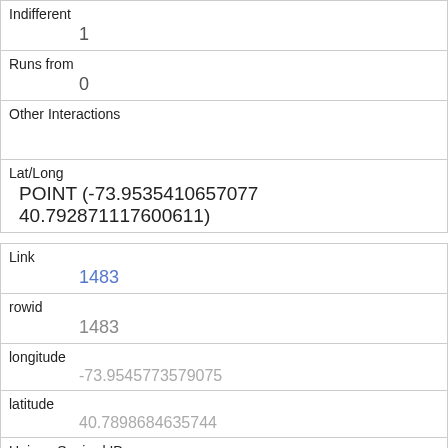| Indifferent | 1 |
| Runs from | 0 |
| Other Interactions |  |
| Lat/Long | POINT (-73.9535410657077 40.792871117600611) |
| Link | 1483 |
| rowid | 1483 |
| longitude | -73.9545773579075 |
| latitude | 40.7898684635744 |
| Unique Squirrel ID | 33I-AM-1008-05 |
| Hectare | 33I |